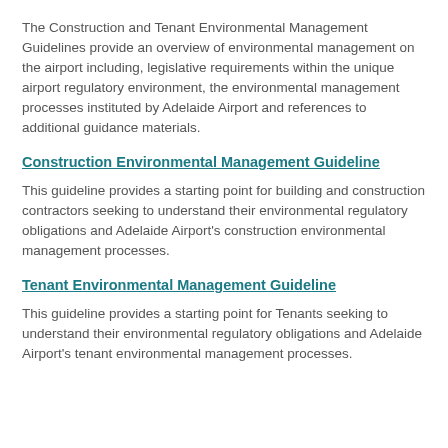The Construction and Tenant Environmental Management Guidelines provide an overview of environmental management on the airport including, legislative requirements within the unique airport regulatory environment, the environmental management processes instituted by Adelaide Airport and references to additional guidance materials.
Construction Environmental Management Guideline
This guideline provides a starting point for building and construction contractors seeking to understand their environmental regulatory obligations and Adelaide Airport's construction environmental management processes.
Tenant Environmental Management Guideline
This guideline provides a starting point for Tenants seeking to understand their environmental regulatory obligations and Adelaide Airport's tenant environmental management processes.